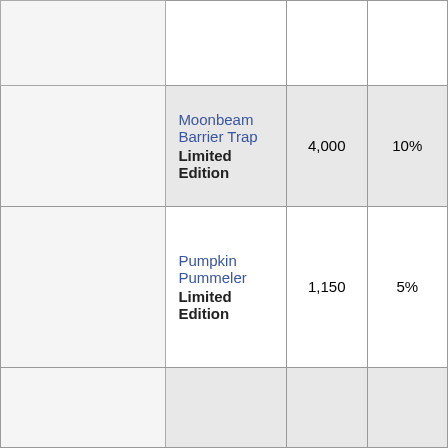|  | Item | Quantity | Percentage |
| --- | --- | --- | --- |
|  |  |  |  |
|  | Moonbeam Barrier Trap Limited Edition | 4,000 | 10% |
|  | Pumpkin Pummeler Limited Edition | 1,150 | 5% |
|  |  |  |  |